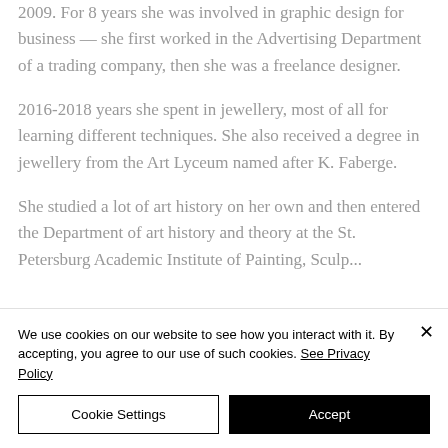2009. For 8 years she was involved in graphic design for business — she first worked in the Advertising Department of a trading company, then she was a freelance designer.
2016-2018 years she spent in jewellery, most of all for learning different techniques. She also received a degree in jewellery from the Art Lyceum named after K. Faberge.
She studied a lot of art history on her own and then entered the Department of art history and theory at the St. Petersburg Academic Institute of Painting, Sculpture and...
We use cookies on our website to see how you interact with it. By accepting, you agree to our use of such cookies. See Privacy Policy
Cookie Settings
Accept